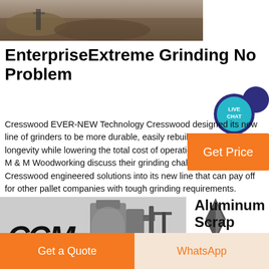[Figure (photo): Aerial/ground view of a mining or excavation site with heavy machinery and earth]
EnterpriseExtreme Grinding No Problem
[Figure (infographic): Live Chat speech bubble icon in teal and dark purple]
Cresswood EVER-NEW Technology Cresswood designed its new line of grinders to be more durable, easily rebuilt to extend longevity while lowering the total cost of operation. Tree Brand and M & M Woodworking discuss their grinding challenges and how Cresswood engineered solutions into its new line that can pay off for other pallet companies with tough grinding requirements.
[Figure (other): Orange 'Get Price' button]
[Figure (photo): Industrial machinery with CCM logo and a large grinding/milling machine]
Aluminum Scrap
[Figure (other): Get a Quote and WhatsApp footer buttons]